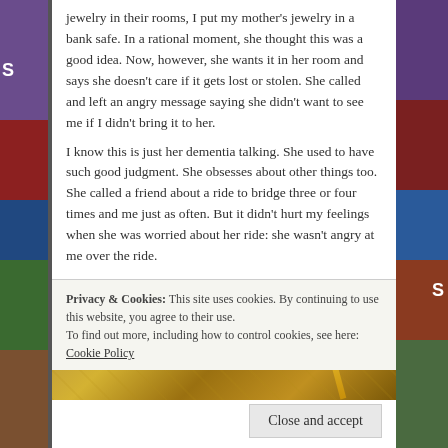jewelry in their rooms, I put my mother's jewelry in a bank safe. In a rational moment, she thought this was a good idea. Now, however, she wants it in her room and says she doesn't care if it gets lost or stolen. She called and left an angry message saying she didn't want to see me if I didn't bring it to her.
I know this is just her dementia talking. She used to have such good judgment. She obsesses about other things too. She called a friend about a ride to bridge three or four times and me just as often. But it didn't hurt my feelings when she was worried about her ride: she wasn't angry at me over the ride.
[Figure (photo): A golden/brown textured surface with a diagonal yellow stripe or bar element, appearing to be jewelry or decorative object on a golden background.]
Privacy & Cookies: This site uses cookies. By continuing to use this website, you agree to their use.
To find out more, including how to control cookies, see here: Cookie Policy
Close and accept